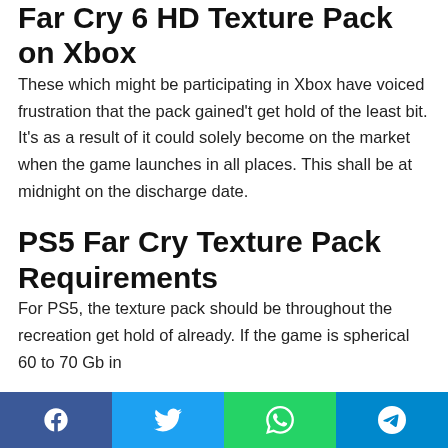Far Cry 6 HD Texture Pack on Xbox
These which might be participating in Xbox have voiced frustration that the pack gained't get hold of the least bit. It's as a result of it could solely become on the market when the game launches in all places. This shall be at midnight on the discharge date.
PS5 Far Cry Texture Pack Requirements
For PS5, the texture pack should be throughout the recreation get hold of already. If the game is spherical 60 to 70 Gb in